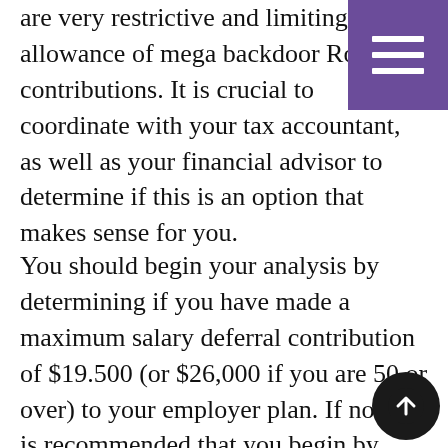are very restrictive and limiting for the allowance of mega backdoor Roth contributions. It is crucial to coordinate with your tax accountant, as well as your financial advisor to determine if this is an option that makes sense for you.
You should begin your analysis by determining if you have made a maximum salary deferral contribution of $19.500 (or $26,000 if you are 50 or over) to your employer plan. If not, it is recommended that you begin by maxing out these contributions prior to moving forward with a mega backdoor